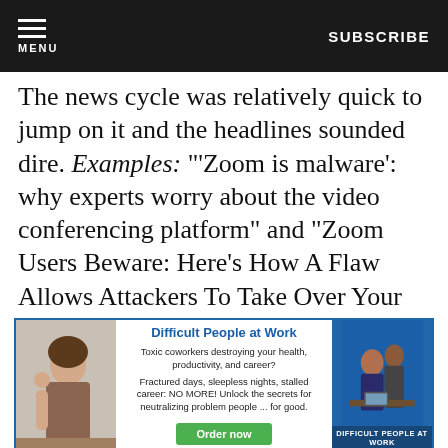MENU  SUBSCRIBE
The news cycle was relatively quick to jump on it and the headlines sounded dire. Examples: "'Zoom is malware': why experts worry about the video conferencing platform" and "Zoom Users Beware: Here's How A Flaw Allows Attackers To Take Over Your Mac Microphone and Webcam."
[Figure (infographic): Advertisement banner for 'Difficult People at Work' book/course. Shows a stressed woman on the left, center text with title and description, green 'Order now' button, and book cover image on the right with blue background.]